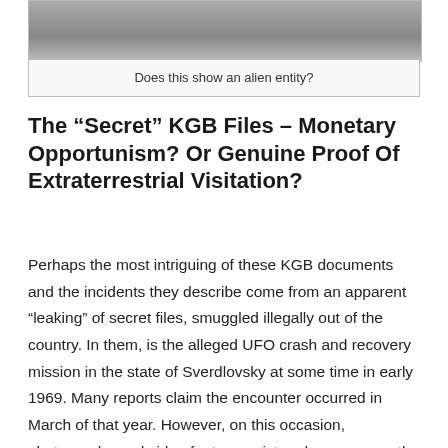[Figure (photo): Partial view of a grayscale photograph showing what appears to be a blurry figure or entity, cropped at the top of the page.]
Does this show an alien entity?
The “Secret” KGB Files – Monetary Opportunism? Or Genuine Proof Of Extraterrestrial Visitation?
Perhaps the most intriguing of these KGB documents and the incidents they describe come from an apparent “leaking” of secret files, smuggled illegally out of the country. In them, is the alleged UFO crash and recovery mission in the state of Sverdlovsky at some time in early 1969. Many reports claim the encounter occurred in March of that year. However, on this occasion, photographs and video footage exist and so preserve the incident. And